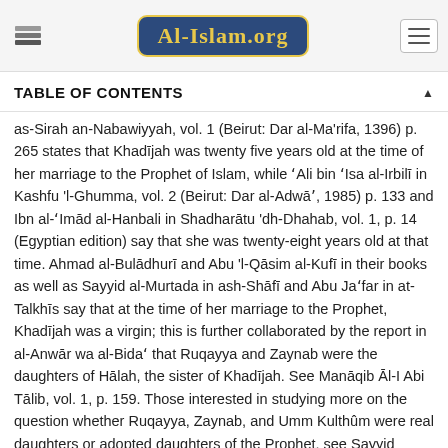Al-Islam.org
TABLE OF CONTENTS
as-Sirah an-Nabawiyyah, vol. 1 (Beirut: Dar al-Ma'rifa, 1396) p. 265 states that Khadijah was twenty five years old at the time of her marriage to the Prophet of Islam, while 'Ali bin 'Isa al-Irbili in Kashfu 'l-Ghumma, vol. 2 (Beirut: Dar al-Adwa', 1985) p. 133 and Ibn al-'Imad al-Hanbali in Shadharatu 'dh-Dhahab, vol. 1, p. 14 (Egyptian edition) say that she was twenty-eight years old at that time. Ahmad al-Buladhuri and Abu 'l-Qasim al-Kufi in their books as well as Sayyid al-Murtada in ash-Shafi and Abu Ja'far in at-Talkhis say that at the time of her marriage to the Prophet, Khadijah was a virgin; this is further collaborated by the report in al-Anwar wa al-Bida' that Ruqayya and Zaynab were the daughters of Halah, the sister of Khadijah. See Manaqib Al-I Abi Talib, vol. 1, p. 159. Those interested in studying more on the question whether Ruqayya, Zaynab, and Umm Kulthum were real daughters or adopted daughters of the Prophet, see Sayyid Ja'far Murtaza al-'Amili, "Banatu 'n-Nabi am Raba'ibuhu?" in the quarterly Turathuna (Qum: Mu'assasatu Ali 'Bayt, 1413) nos. 30-31.